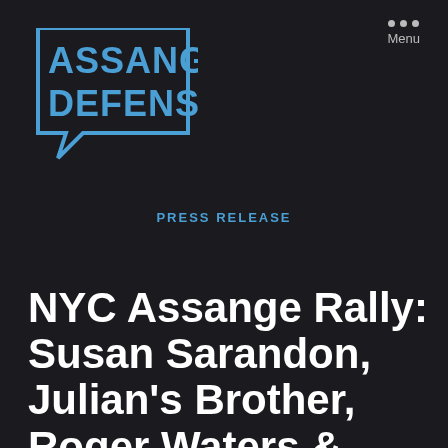[Figure (logo): Assange Defense logo: bold blue text 'ASSANGE DEFENSE' inside a speech bubble outline shape on dark background]
Menu
PRESS RELEASE
NYC Assange Rally: Susan Sarandon, Julian's Brother, Roger Waters & More